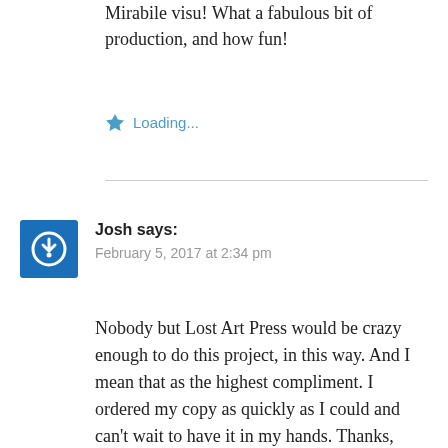Mirabile visu! What a fabulous bit of production, and how fun!
Loading...
Josh says:
February 5, 2017 at 2:34 pm
Nobody but Lost Art Press would be crazy enough to do this project, in this way. And I mean that as the highest compliment. I ordered my copy as quickly as I could and can't wait to have it in my hands. Thanks, Chris and John and Co., for making the books that you would want made, and I hope that the run sells out quickly enough to show you that there are plenty of us other crazy people